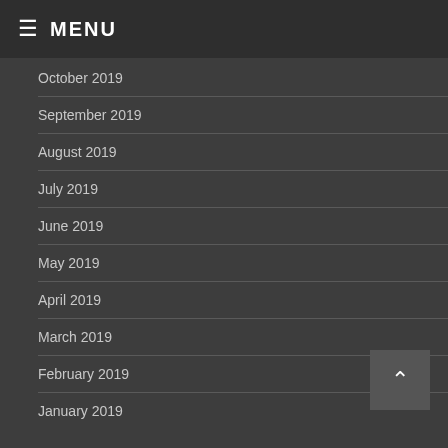☰ MENU
October 2019
September 2019
August 2019
July 2019
June 2019
May 2019
April 2019
March 2019
February 2019
January 2019